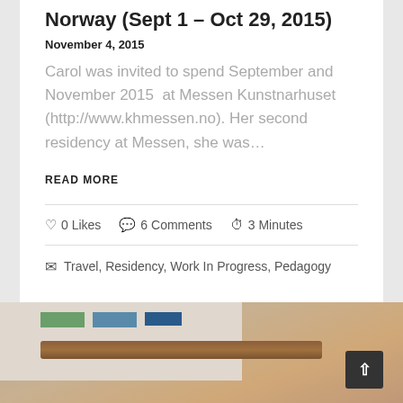Norway (Sept 1 – Oct 29, 2015)
November 4, 2015
Carol was invited to spend September and November 2015 at Messen Kunstnarhuset (http://www.khmessen.no). Her second residency at Messen, she was…
READ MORE
0 Likes   6 Comments   3 Minutes
Travel, Residency, Work In Progress, Pedagogy
[Figure (photo): Interior photo showing a wall with small artwork cards pinned up and a wooden rail or shelf]